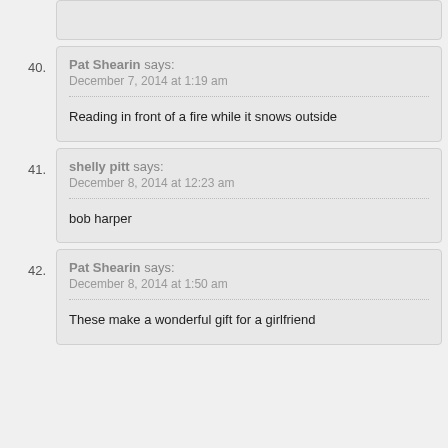40. Pat Shearin says: December 7, 2014 at 1:19 am — Reading in front of a fire while it snows outside
41. shelly pitt says: December 8, 2014 at 12:23 am — bob harper
42. Pat Shearin says: December 8, 2014 at 1:50 am — These make a wonderful gift for a girlfriend